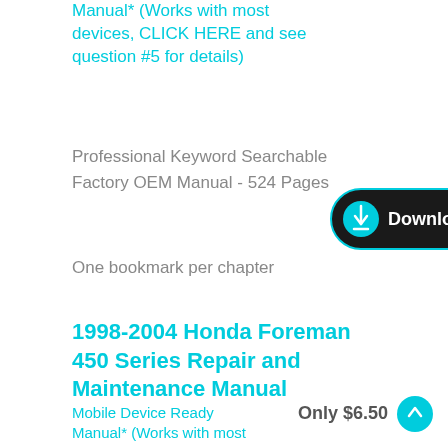Manual* (Works with most devices, CLICK HERE and see question #5 for details)
Professional Keyword Searchable Factory OEM Manual - 524 Pages
[Figure (other): Download button: dark pill-shaped button with cyan border, cyan download circle icon and white bold 'Download' text]
One bookmark per chapter
1998-2004 Honda Foreman 450 Series Repair and Maintenance Manual
Mobile Device Ready Manual* (Works with most
Only $6.50